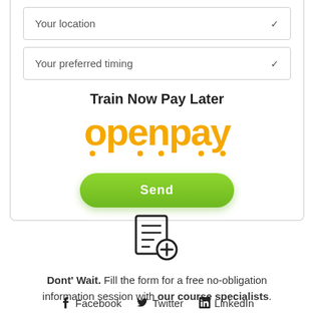Your location
Your preferred timing
Train Now Pay Later
[Figure (logo): openpay logo in orange with decorative dots underneath letters]
Send
[Figure (illustration): Icon of a document/clipboard with a plus circle, representing adding a form or enrollment]
Dont' Wait. Fill the form for a free no-obligation information session with our course specialists.
Facebook  Twitter  LinkedIn